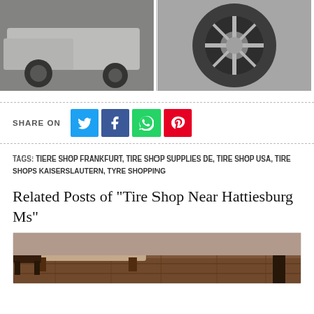[Figure (photo): Two side-by-side photos: left shows a truck/SUV from side angle with black wheels on pavement; right shows a close-up of an alloy wheel/tire]
SHARE ON
TAGS: TIERE SHOP FRANKFURT, TIRE SHOP SUPPLIES DE, TIRE SHOP USA, TIRE SHOPS KAISERSLAUTERN, TYRE SHOPPING
Related Posts of "Tire Shop Near Hattiesburg Ms"
[Figure (photo): Interior room photo showing wooden flooring with furniture legs visible]